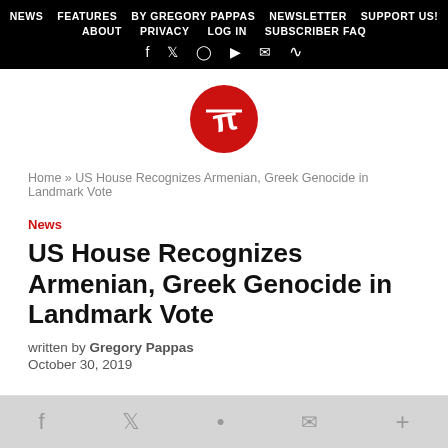NEWS  FEATURES  BY GREGORY PAPPAS  NEWSLETTER  SUPPORT US!  ABOUT  PRIVACY  LOG IN  SUBSCRIBER FAQ
[Figure (logo): Pappas Post circular red logo with stylized pi symbol in white]
Home » US House Recognizes Armenian, Greek Genocide in Landmark Vote
News
US House Recognizes Armenian, Greek Genocide in Landmark Vote
written by Gregory Pappas
October 30, 2019
f  t  envelope  +